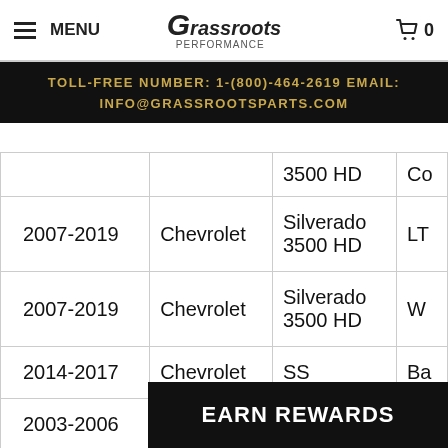MENU | Grassroots Performance | 0
TOLL-FREE NUMBER: 1-(800)-464-2619 EMAIL: INFO@GRASSROOTSPARTS.COM
| Year | Make | Model | Trim |
| --- | --- | --- | --- |
|  |  | 3500 HD | Co... |
| 2007-2019 | Chevrolet | Silverado 3500 HD | LT |
| 2007-2019 | Chevrolet | Silverado 3500 HD | W... |
| 2014-2017 | Chevrolet | SS | Ba... |
| 2003-2006 | Chevrolet | SSR | Ba... |
| 2018,2020 | Chevrolet | Suburban | LS |
| 2018,2020 | Chevrolet | Suburban | LT |
| 2018-2020 | C... |  |  |
| 2000 |  |  |  |
EARN REWARDS